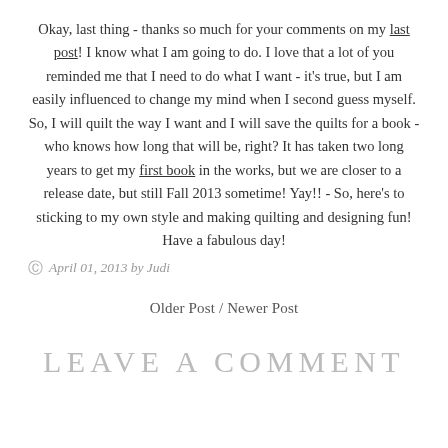Okay, last thing - thanks so much for your comments on my last post!  I know what I am going to do.  I love that a lot of you reminded me that I need to do what I want - it's true, but I am easily influenced to change my mind when I second guess myself.  So, I will quilt the way I want and I will save the quilts for a book - who knows how long that will be, right?  It has taken two long years to get my first book in the works, but we are closer to a release date, but still Fall 2013 sometime!  Yay!! - So, here's to sticking to my own style and making quilting and designing fun!  Have a fabulous day!
April 01, 2013 by Judi
Older Post / Newer Post
LEAVE A COMMENT